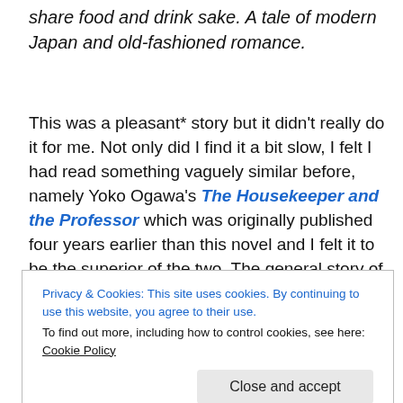share food and drink sake. A tale of modern Japan and old-fashioned romance.
This was a pleasant* story but it didn't really do it for me. Not only did I find it a bit slow, I felt I had read something vaguely similar before, namely Yoko Ogawa's The Housekeeper and the Professor which was originally published four years earlier than this novel and I felt it to be the superior of the two. The general story of a friendship between an older man and not quite so young anymore woman seems to be particular to Japanese
Privacy & Cookies: This site uses cookies. By continuing to use this website, you agree to their use.
To find out more, including how to control cookies, see here: Cookie Policy
not judging a book by its cover. The cover implies a